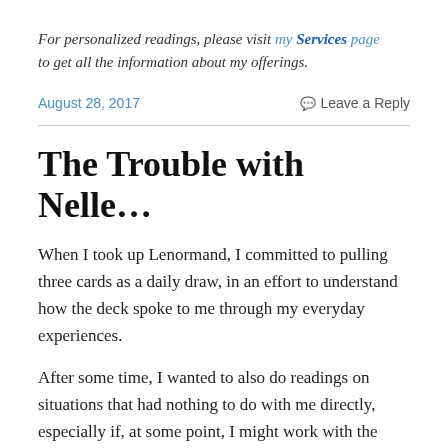For personalized readings, please visit my Services page to get all the information about my offerings.
August 28, 2017   Leave a Reply
The Trouble with Nelle…
When I took up Lenormand, I committed to pulling three cards as a daily draw, in an effort to understand how the deck spoke to me through my everyday experiences.
After some time, I wanted to also do readings on situations that had nothing to do with me directly, especially if, at some point, I might work with the system for other people, much in the way I had been led with Tarot.